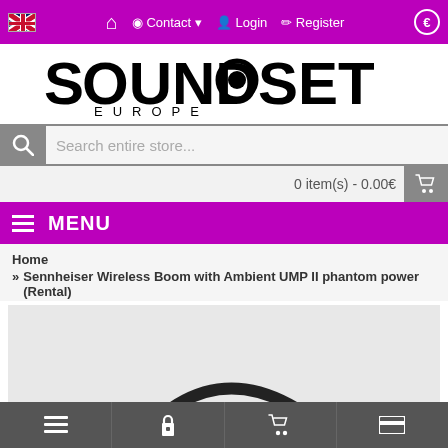Sound On Set Europe — navigation bar with flag, home, Contact, Login, Register, currency selector
[Figure (logo): Sound On Set Europe logo in large black text with camera lens icon]
Search entire store...
0 item(s) - 0.00€
MENU
Home
» Sennheiser Wireless Boom with Ambient UMP II phantom power (Rental)
[Figure (photo): Product image showing top of a boom microphone pole against white background]
Bottom navigation bar with list, lock, cart, and card icons